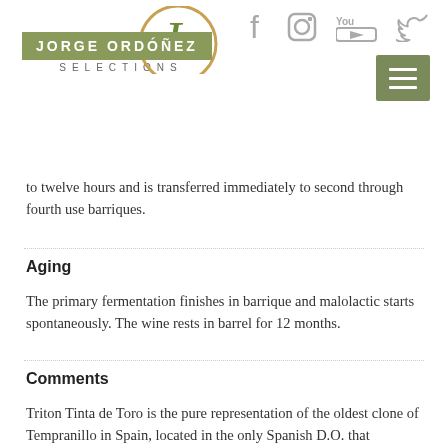Jorge Ordóñez Selections — social icons and logo header
to twelve hours and is transferred immediately to second through fourth use barriques.
Aging
The primary fermentation finishes in barrique and malolactic starts spontaneously. The wine rests in barrel for 12 months.
Comments
Triton Tinta de Toro is the pure representation of the oldest clone of Tempranillo in Spain, located in the only Spanish D.O. that completely resisted the phylloxera plague. During the Middle Ages, Toro was the Spain's most famous winemaking region. Mentioned in literature by Alfonso IX (King of León, 12th